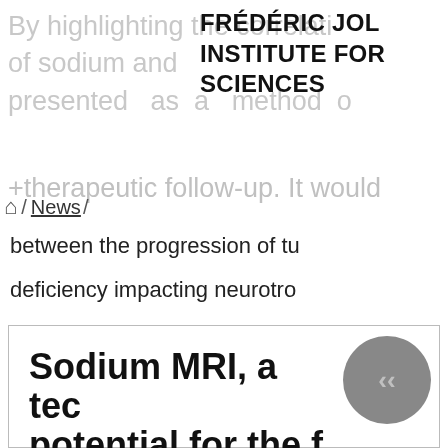By highlighting the correlati of sodium and ... presented as a method o therapeutic follow-up. It would between the progression of tu deficiency impacting neurotra
FRÉDÉRIC JOL INSTITUTE FOR SCIENCES
⌂ / News /
Sodium MRI, a tec potential for the f